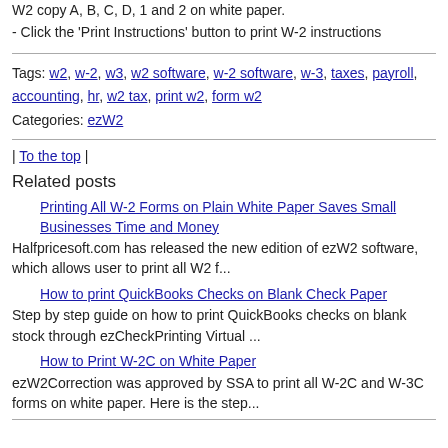W2 copy A, B, C, D, 1 and 2 on white paper.
- Click the 'Print Instructions' button to print W-2 instructions
Tags: w2, w-2, w3, w2 software, w-2 software, w-3, taxes, payroll, accounting, hr, w2 tax, print w2, form w2
Categories: ezW2
| To the top |
Related posts
Printing All W-2 Forms on Plain White Paper Saves Small Businesses Time and Money
Halfpricesoft.com has released the new edition of ezW2 software, which allows user to print all W2 f...
How to print QuickBooks Checks on Blank Check Paper
Step by step guide on how to print QuickBooks checks on blank stock through ezCheckPrinting Virtual ...
How to Print W-2C on White Paper
ezW2Correction was approved by SSA to print all W-2C and W-3C forms on white paper. Here is the step...